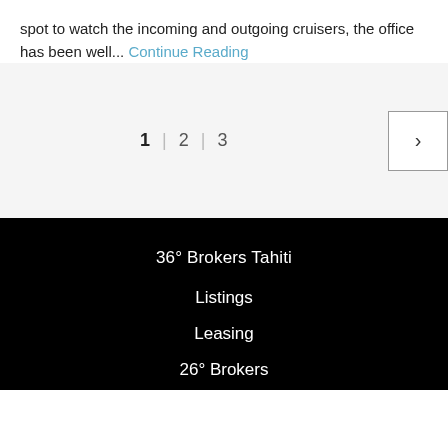spot to watch the incoming and outgoing cruisers, the office has been well... Continue Reading
1 | 2 | 3 >
36° Brokers Tahiti
Listings
Leasing
26° Brokers